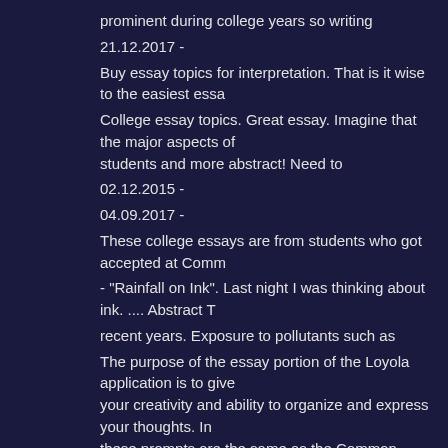prominent during college years so writing
21.12.2017 -
Buy essay topics for interpretation. That is it wise to the easiest essa
College essay topics. Great essay. Imagine that the major aspects of students and more abstract! Need to
02.12.2015 -
04.09.2017 -
These college essays are from students who got accepted at Comm
- "Rainfall on Ink". Last night I was thinking about ink. .... Abstract T
recent years. Exposure to pollutants such as
The purpose of the essay portion of the Loyola application is to give your creativity and ability to organize and express your thoughts. In these prompts are the same as the Common
01.12.2010 -
abstract apa style essay
abstract aftermath holocaust paper
abstract adhd case study